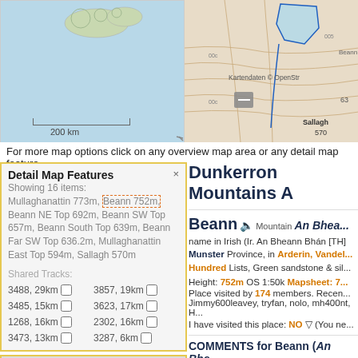[Figure (map): Overview map showing Ireland/region in light blue with scale bar showing 200 km]
[Figure (map): Detail topographic map showing Dunkerron Mountains area with contour lines, blue polygon highlight, Sallagh 570m label, Kartendaten OpenStreetMap attribution]
For more map options click on any overview map area or any detail map feature.
Detail Map Features
Showing 16 items: Mullaghanattin 773m, Beann 752m, Beann NE Top 692m, Beann SW Top 657m, Beann South Top 639m, Beann Far SW Top 636.2m, Mullaghanattin East Top 594m, Sallagh 570m
Shared Tracks:
3488, 29km  3857, 19km
3485, 15km  3623, 17km
1268, 16km  2302, 16km
3473, 13km  3287, 6km
Find Suggested Walks
Open walks finder
Dunkerron Mountains A
Beann
Mountain An Bhea...
name in Irish (Ir. An Bheann Bhán [TH]
Munster Province, in Arderin, Vandele... Hundred Lists, Green sandstone & sil...
Height: 752m OS 1:50k Mapsheet: 7...
Place visited by 174 members. Recen... Jimmy600leavey, tryfan, nolo, mh400nt, H...
I have visited this place: NO ▽ (You ne...
COMMENTS for Beann (An Bhe...